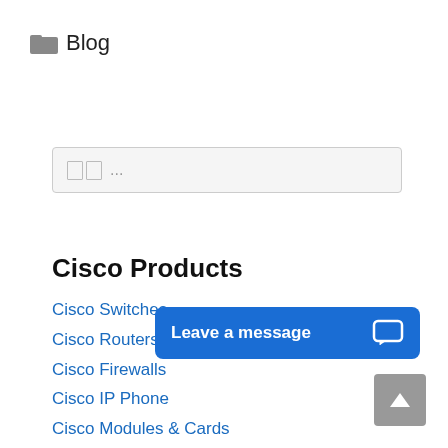Blog
[Figure (screenshot): Search input box with placeholder showing two squares and ellipsis]
Cisco Products
Cisco Switches
Cisco Routers
Cisco Firewalls
Cisco IP Phone
Cisco Modules & Cards
Cisco Optics Modules
[Figure (screenshot): Blue chat button overlay reading Leave a message with chat icon]
[Figure (screenshot): Gray scroll-to-top button with upward arrow]